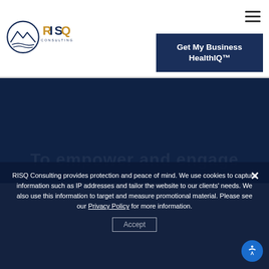[Figure (logo): RISQ Consulting logo — circular mountain/wave emblem in navy blue, with 'RISQ' in navy/gold and 'CONSULTING' in navy below]
[Figure (other): Hamburger menu icon (three horizontal lines) in top right corner]
Get My Business HealthIQ™
[Figure (other): Dark navy blue hero/banner section]
RISQ Consulting provides protection and peace of mind. We use cookies to capture information such as IP addresses and tailor the website to our clients' needs. We also use this information to target and measure promotional material. Please see our Privacy Policy for more information.
Accept